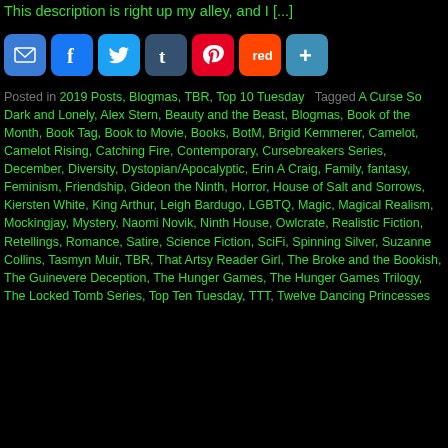This description is right up my alley, and I [...]
[Figure (infographic): Social sharing icon buttons: Email, Facebook, Twitter, Tumblr, Pinterest, Reddit, More]
Posted in 2019 Posts, Blogmas, TBR, Top 10 Tuesday   Tagged A Curse So Dark and Lonely, Alex Stern, Beauty and the Beast, Blogmas, Book of the Month, Book Tag, Book to Movie, Books, BotM, Brigid Kemmerer, Camelot, Camelot Rising, Catching Fire, Contemporary, Cursebreakers Series, December, Diversity, Dystopian/Apocalyptic, Erin A Craig, Family, fantasy, Feminism, Friendship, Gideon the Ninth, Horror, House of Salt and Sorrows, Kiersten White, King Arthur, Leigh Bardugo, LGBTQ, Magic, Magical Realism, Mockingjay, Mystery, Naomi Novik, Ninth House, Owlcrate, Realistic Fiction, Retellings, Romance, Satire, Science Fiction, SciFi, Spinning Silver, Suzanne Collins, Tasmyn Muir, TBR, That Artsy Reader Girl, The Broke and the Bookish, The Guinevere Deception, The Hunger Games, The Hunger Games Trilogy, The Locked Tomb Series, Top Ten Tuesday, TTT, Twelve Dancing Princesses